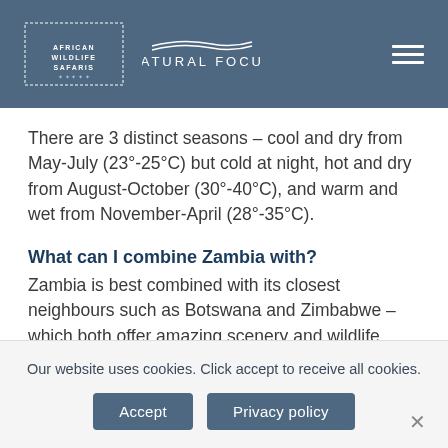AFRICAN WILDLIFE SAFARIS · NATURAL FOCUS
There are 3 distinct seasons – cool and dry from May-July (23°-25°C) but cold at night, hot and dry from August-October (30°-40°C), and warm and wet from November-April (28°-35°C).
What can I combine Zambia with?
Zambia is best combined with its closest neighbours such as Botswana and Zimbabwe – which both offer amazing scenery and wildlife. South Africa is another option, where you can
Our website uses cookies. Click accept to receive all cookies.